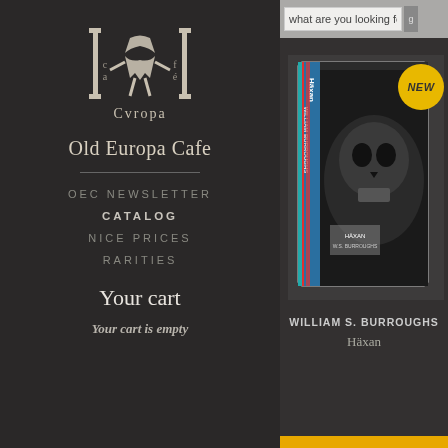[Figure (logo): Old Europa Cafe logo - stylized figure with columns and text 'Cvropа']
Old Europa Cafe
OEC NEWSLETTER
CATALOG
NICE PRICES
RARITIES
Your cart
Your cart is empty
what are you looking for?
Lucifer
[Figure (photo): Product photo: William S. Burroughs - Häxan cassette tape in case with NEW badge, showing skull/face imagery]
Cassettes  11.00 €
WILLIAM S. BURROUGHS
Häxan